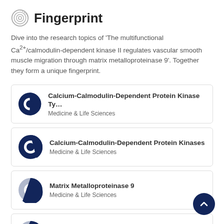Fingerprint
Dive into the research topics of 'The multifunctional Ca2+/calmodulin-dependent kinase II regulates vascular smooth muscle migration through matrix metalloproteinase 9'. Together they form a unique fingerprint.
Calcium-Calmodulin-Dependent Protein Kinase Type II — Medicine & Life Sciences
Calcium-Calmodulin-Dependent Protein Kinases — Medicine & Life Sciences
Matrix Metalloproteinase 9 — Medicine & Life Sciences
Vascular Smooth Muscle — Medicine & Life Sciences